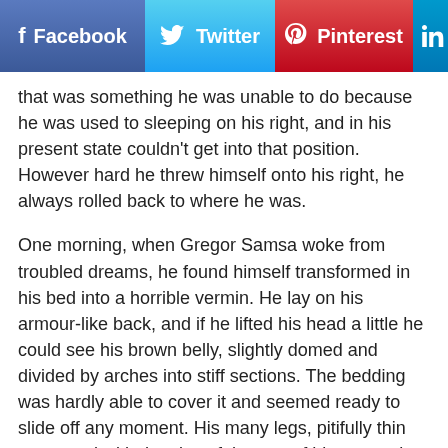[Figure (screenshot): Social media sharing buttons bar: Facebook (blue), Twitter (light blue), Pinterest (red), LinkedIn (dark blue, partially visible)]
that was something he was unable to do because he was used to sleeping on his right, and in his present state couldn’t get into that position. However hard he threw himself onto his right, he always rolled back to where he was.
One morning, when Gregor Samsa woke from troubled dreams, he found himself transformed in his bed into a horrible vermin. He lay on his armour-like back, and if he lifted his head a little he could see his brown belly, slightly domed and divided by arches into stiff sections. The bedding was hardly able to cover it and seemed ready to slide off any moment. His many legs, pitifully thin compared with the size of the rest of him, waved about helplessly as he looked. “What’s happened to me? ” he